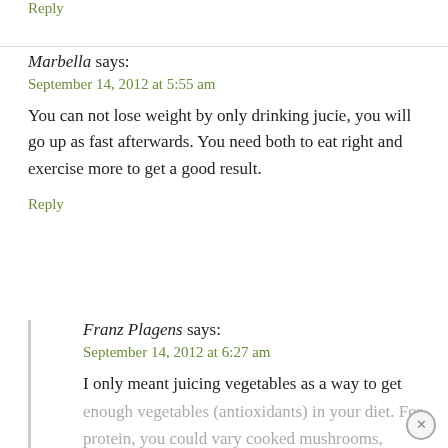Reply
Marbella says:
September 14, 2012 at 5:55 am
You can not lose weight by only drinking jucie, you will go up as fast afterwards. You need both to eat right and exercise more to get a good result.
Reply
Franz Plagens says:
September 14, 2012 at 6:27 am
I only meant juicing vegetables as a way to get enough vegetables (antioxidants) in your diet. For protein, you could vary cooked mushrooms,